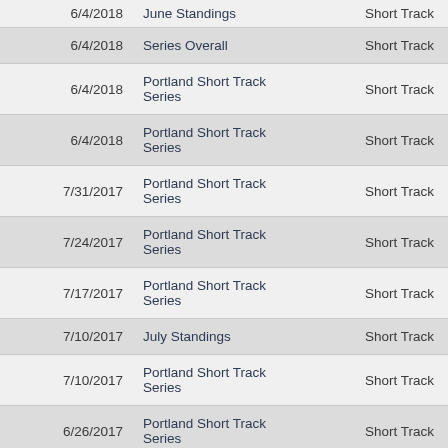| Date | Event | Category |
| --- | --- | --- |
| 6/4/2018 | June Standings | Short Track |
| 6/4/2018 | Series Overall | Short Track |
| 6/4/2018 | Portland Short Track Series | Short Track |
| 6/4/2018 | Portland Short Track Series | Short Track |
| 7/31/2017 | Portland Short Track Series | Short Track |
| 7/24/2017 | Portland Short Track Series | Short Track |
| 7/17/2017 | Portland Short Track Series | Short Track |
| 7/10/2017 | July Standings | Short Track |
| 7/10/2017 | Portland Short Track Series | Short Track |
| 6/26/2017 | Portland Short Track Series | Short Track |
| 6/19/2017 | Portland Short Track Series | Short Track |
| 6/18/2017 | Skibowl Classic XC | Mountain |